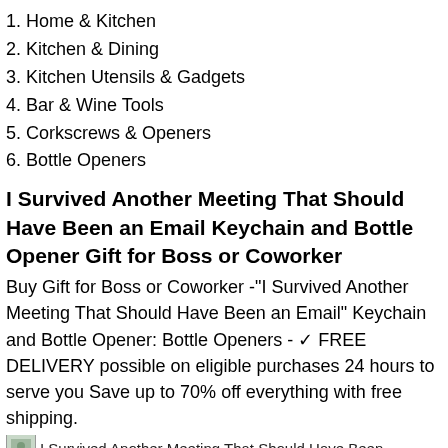1. Home & Kitchen
2. Kitchen & Dining
3. Kitchen Utensils & Gadgets
4. Bar & Wine Tools
5. Corkscrews & Openers
6. Bottle Openers
I Survived Another Meeting That Should Have Been an Email Keychain and Bottle Opener Gift for Boss or Coworker
Buy Gift for Boss or Coworker -"I Survived Another Meeting That Should Have Been an Email" Keychain and Bottle Opener: Bottle Openers - ✓ FREE DELIVERY possible on eligible purchases 24 hours to serve you Save up to 70% off everything with free shipping.
[Figure (photo): Thumbnail image of I Survived Another Meeting That Should Have Been an Email keychain and bottle opener product]